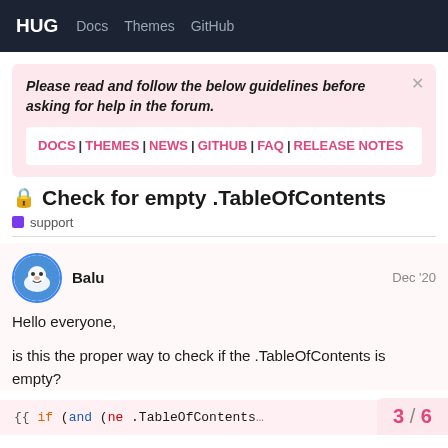HUG  Docs  Themes  GitHub
Please read and follow the below guidelines before asking for help in the forum.
DOCS | THEMES | NEWS | GITHUB | FAQ | RELEASE NOTES
🔒 Check for empty .TableOfContents
support
Balu   Dec '20
Hello everyone,
is this the proper way to check if the .TableOfContents is empty?
{{ if (and (ne .TableOfContents
3 / 6